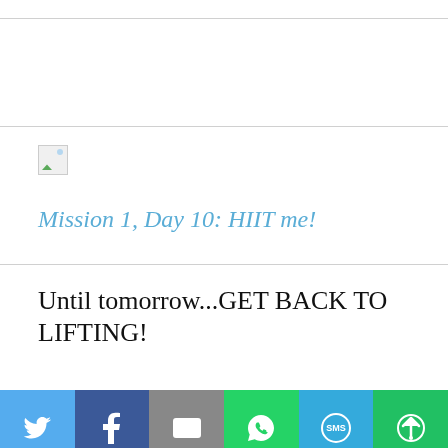[Figure (other): Broken image placeholder icon]
Mission 1, Day 10: HIIT me!
Until tomorrow...GET BACK TO LIFTING!
[Figure (other): Social share bar with Twitter, Facebook, Email, WhatsApp, SMS, and More buttons]